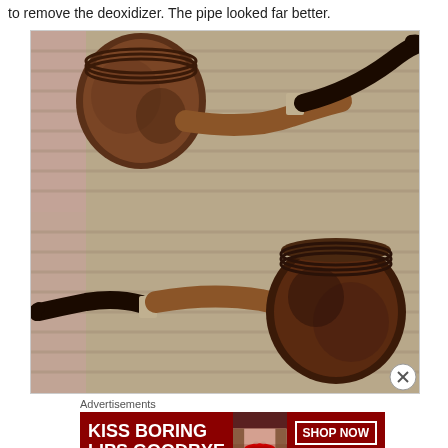to remove the deoxidizer. The pipe looked far better.
[Figure (photo): Two views of a carved briar tobacco pipe with a dark stem and silver band, shown on a woven textile background. Top photo shows the pipe from the right side with bowl facing left. Bottom photo shows the same pipe from the left side with bowl facing right.]
Advertisements
[Figure (illustration): Macy's advertisement banner with dark red background. Left side shows bold white text 'KISS BORING LIPS GOODBYE'. Center shows a close-up photo of a woman's face/lips with red lipstick. Right side shows a white-bordered button 'SHOP NOW' and the Macy's logo with red star.]